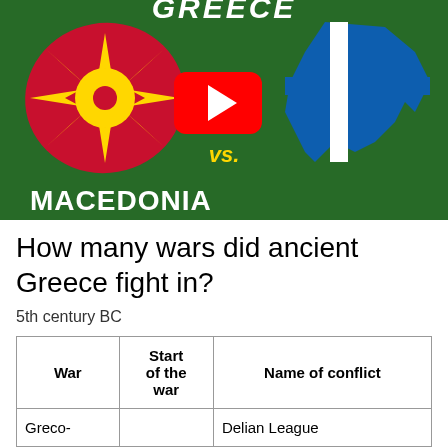[Figure (screenshot): YouTube video thumbnail showing Macedonia flag vs Greece flag on green background with text 'GREECE' at top and 'MACEDONIA' at bottom, with YouTube play button in center and 'vs.' text]
How many wars did ancient Greece fight in?
5th century BC
| War | Start of the war | Name of conflict |
| --- | --- | --- |
| Greco- |  | Delian League |